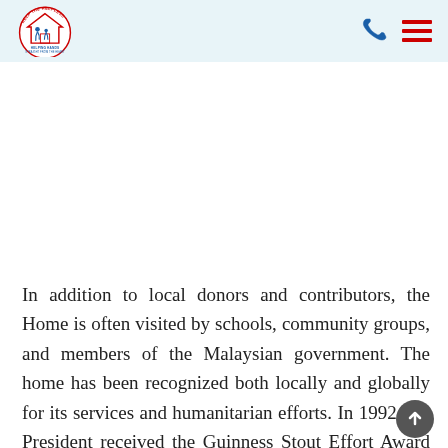[Figure (logo): Helping Hands charity logo — circular badge with house outline, two figures inside, text 'HELP THE HELPLESS' around top arc, 'HELPING HANDS' and 'STRAIGHT FROM THE HEART' at bottom]
In addition to local donors and contributors, the Home is often visited by schools, community groups, and members of the Malaysian government. The home has been recognized both locally and globally for its services and humanitarian efforts. In 1992, the President received the Guinness Stout Effort Award for his selfless